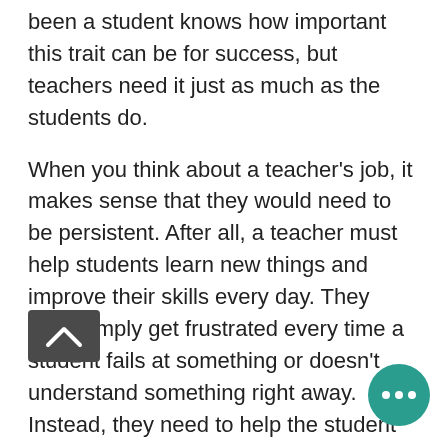been a student knows how important this trait can be for success, but teachers need it just as much as the students do.
When you think about a teacher's job, it makes sense that they would need to be persistent. After all, a teacher must help students learn new things and improve their skills every day. They can't simply get frustrated every time a student fails at something or doesn't understand something right away. Instead, they need to help the student understand what they need to do to succeed next time.
The goal of this article is to help